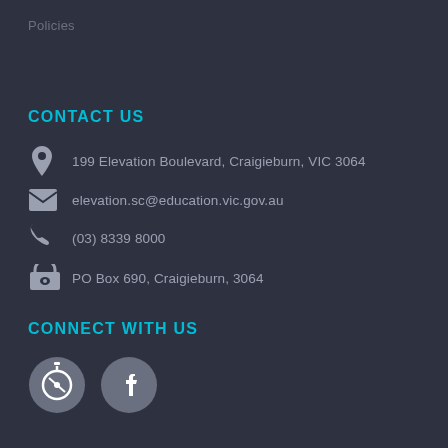Policies
CONTACT US
199 Elevation Boulevard, Craigieburn, VIC 3064
elevation.sc@education.vic.gov.au
(03) 8339 8000
PO Box 690, Craigieburn, 3064
CONNECT WITH US
[Figure (logo): Compass/navigation app icon - circular grey icon]
[Figure (logo): Facebook social media icon - circular grey icon]